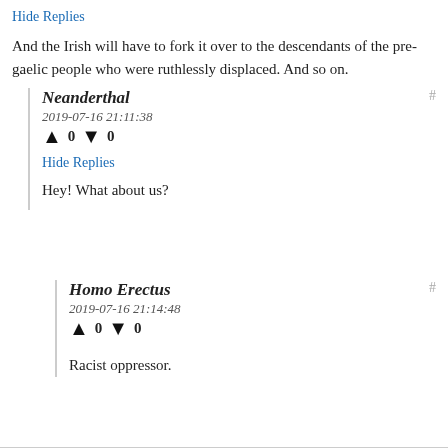Hide Replies
And the Irish will have to fork it over to the descendants of the pre-gaelic people who were ruthlessly displaced. And so on.
Neanderthal
2019-07-16 21:11:38
▲ 0 ▼ 0
Hide Replies
Hey! What about us?
Homo Erectus
2019-07-16 21:14:48
▲ 0 ▼ 0
Racist oppressor.